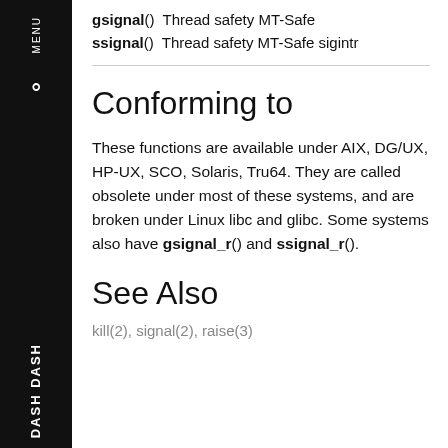gsignal()  Thread safety MT-Safe
ssignal()  Thread safety MT-Safe sigintr
Conforming to
These functions are available under AIX, DG/UX, HP-UX, SCO, Solaris, Tru64. They are called obsolete under most of these systems, and are broken under Linux libc and glibc. Some systems also have gsignal_r() and ssignal_r().
See Also
kill(2), signal(2), raise(3)